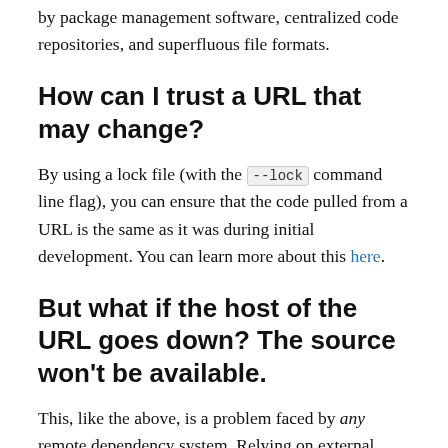by package management software, centralized code repositories, and superfluous file formats.
How can I trust a URL that may change?
By using a lock file (with the --lock command line flag), you can ensure that the code pulled from a URL is the same as it was during initial development. You can learn more about this here.
But what if the host of the URL goes down? The source won't be available.
This, like the above, is a problem faced by any remote dependency system. Relying on external servers is convenient for development but brittle in production. Production software should always vendor its dependencies. In Node this is done by checking node_modules into source control. In Deno this is done by using the subcommand